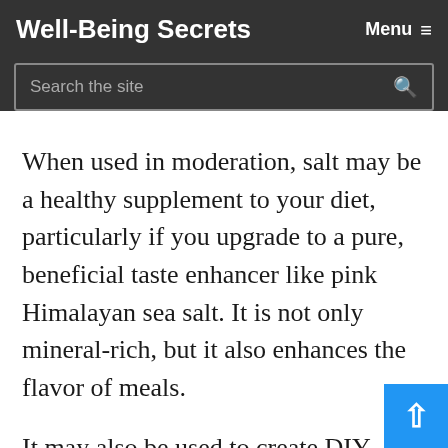Well-Being Secrets
When used in moderation, salt may be a healthy supplement to your diet, particularly if you upgrade to a pure, beneficial taste enhancer like pink Himalayan sea salt. It is not only mineral-rich, but it also enhances the flavor of meals.
It may also be used to create DIY cosmetic items like body scrubs and bath salts.
It may enhance the flavor of a variety of dishes while also boosting essential nutrients and other